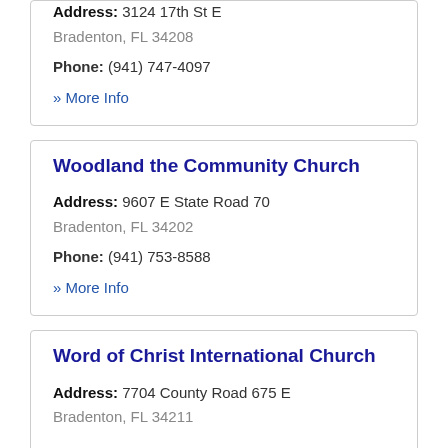Address: 3124 17th St E
Bradenton, FL 34208
Phone: (941) 747-4097
» More Info
Woodland the Community Church
Address: 9607 E State Road 70
Bradenton, FL 34202
Phone: (941) 753-8588
» More Info
Word of Christ International Church
Address: 7704 County Road 675 E
Bradenton, FL 34211